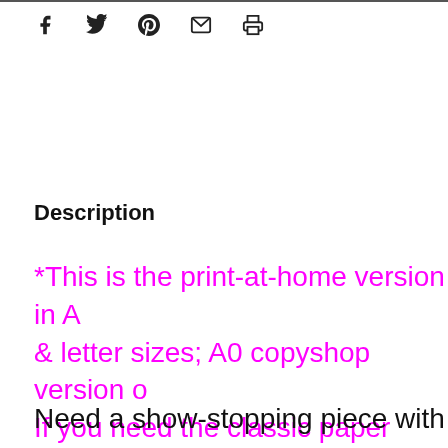[social share icons: facebook, twitter, pinterest, email, print]
Description
*This is the print-at-home version in A & letter sizes; A0 copyshop version o If you need the classic paper pattern
Need a show-stopping piece with so